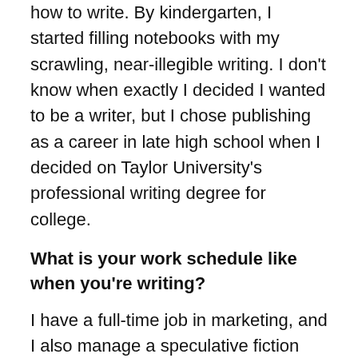how to write. By kindergarten, I started filling notebooks with my scrawling, near-illegible writing. I don't know when exactly I decided I wanted to be a writer, but I chose publishing as a career in late high school when I decided on Taylor University's professional writing degree for college.
What is your work schedule like when you're writing?
I have a full-time job in marketing, and I also manage a speculative fiction imprint, so writing gets squeezed in after work, during lunch breaks, on the weekends…there isn't much of a schedule, just frantic typing whenever I can.
Which one of your characters speaks most to your heart? Why?